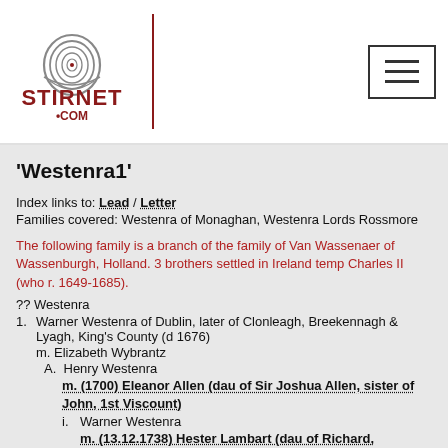[Figure (logo): Stirnet.com logo with fingerprint graphic and red text]
'Westenra1'
Index links to: Lead / Letter
Families covered: Westenra of Monaghan, Westenra Lords Rossmore
The following family is a branch of the family of Van Wassenaer of Wassenburgh, Holland. 3 brothers settled in Ireland temp Charles II (who r. 1649-1685).
?? Westenra
1. Warner Westenra of Dublin, later of Clonleagh, Breekennagh & Lyagh, King's County (d 1676)
   m. Elizabeth Wybrantz
   A. Henry Westenra
      m. (1700) Eleanor Allen (dau of Sir Joshua Allen, sister of John, 1st Viscount)
      i. Warner Westenra
         m. (13.12.1738) Hester Lambart (dau of Richard,